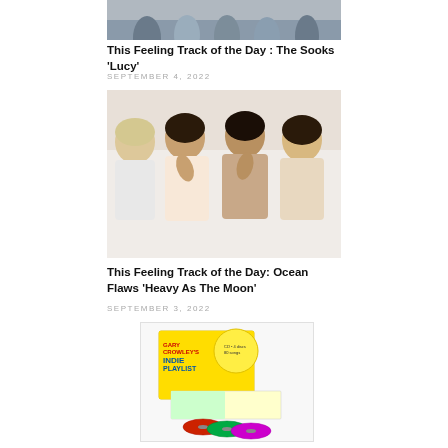[Figure (photo): Band photo partially cropped at top - group of people standing together]
This Feeling Track of the Day : The Sooks ‘Lucy’
SEPTEMBER 4, 2022
[Figure (photo): Four young men leaning together, posed photo]
This Feeling Track of the Day: Ocean Flaws ‘Heavy As The Moon’
SEPTEMBER 3, 2022
[Figure (photo): CD box set product image with colorful cover and multiple discs]